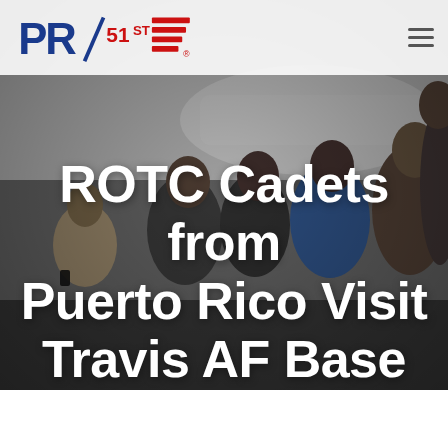[Figure (photo): Group of young ROTC cadets from Puerto Rico standing together, viewed from behind and side, inside what appears to be an aircraft hangar at Travis Air Force Base. The background shows large aircraft components. The image is grayscale/dark toned serving as a hero image background.]
PR51ST logo and hamburger menu navigation
ROTC Cadets from Puerto Rico Visit Travis AF Base